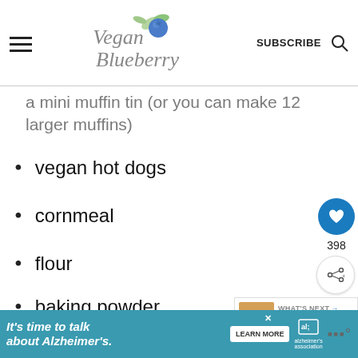Vegan Blueberry | SUBSCRIBE
a mini muffin tin (or you can make 12 larger muffins)
vegan hot dogs
cornmeal
flour
baking powder
non-dairy milk
398
WHAT'S NEXT → Vegan Fried Cauliflower...
It's time to talk about Alzheimer's. LEARN MORE